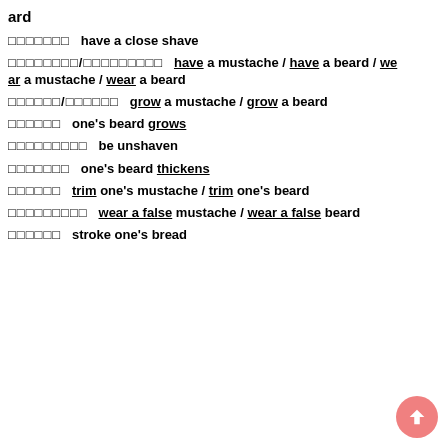ard
□□□□□□□  have a close shave
□□□□□□□□/□□□□□□□□□  have a mustache / have a beard / wear a mustache / wear a beard
□□□□□□/□□□□□□  grow a mustache / grow a beard
□□□□□□  one's beard grows
□□□□□□□□□  be unshaven
□□□□□□□  one's beard thickens
□□□□□□  trim one's mustache / trim one's beard
□□□□□□□□□  wear a false mustache / wear a false beard
□□□□□□  stroke one's bread